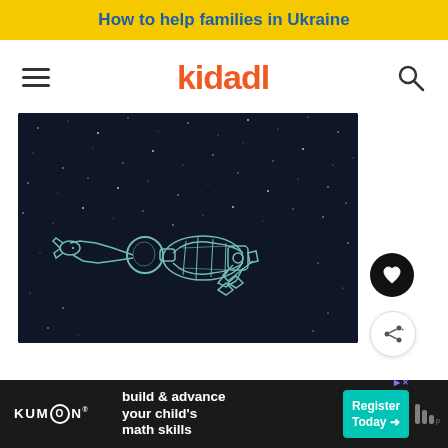How to help families in Ukraine
kidadl
[Figure (illustration): Dark space background with a white line-art illustration of an astronaut floating/flying horizontally, wearing a spacesuit with helmet, arms extended forward, rendered in a sketch style with stars in the background.]
[Figure (infographic): Advertisement bar: Kumon logo on left, text 'build & advance your child's math skills' in center, 'Register Today' button with arrow on right, small icons on far right.]